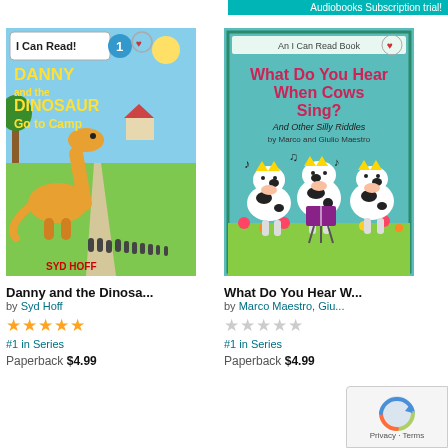Audiobooks Subscription trial!
[Figure (illustration): Book cover: Danny and the Dinosaur Go to Camp by Syd Hoff. I Can Read! Level 1 badge. Blue sky background with a large orange dinosaur and children walking in a line on a path.]
Danny and the Dinosa...
by Syd Hoff
★★★★★
#1 in Series
Paperback $4.99
[Figure (illustration): Book cover: What Do You Hear When Cows Sing? And Other Silly Riddles by Marco and Giulio Maestro. An I Can Read Book. Cartoon cows wearing crowns singing with music notes on a teal background.]
What Do You Hear W...
by Marco Maestro, Giu...
☆☆☆☆☆
#1 in Series
Paperback $4.99